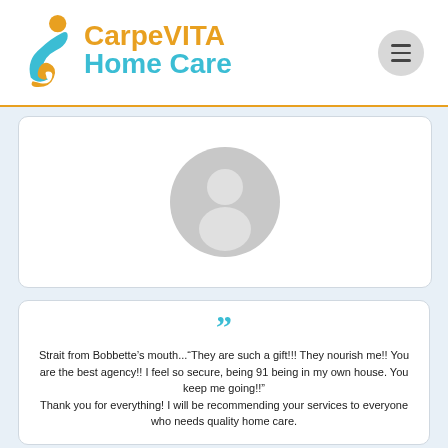[Figure (logo): CarpeVITA Home Care logo with stylized teal figure and orange swirl icon, orange hamburger menu button]
[Figure (illustration): Generic grey avatar/profile silhouette icon in a white rounded card]
“” Strait from Bobbette’s mouth...“They are such a gift!!! They nourish me!! You are the best agency!! I feel so secure, being 91 being in my own house. You keep me going!!” Thank you for everything! I will be recommending your services to everyone who needs quality home care.